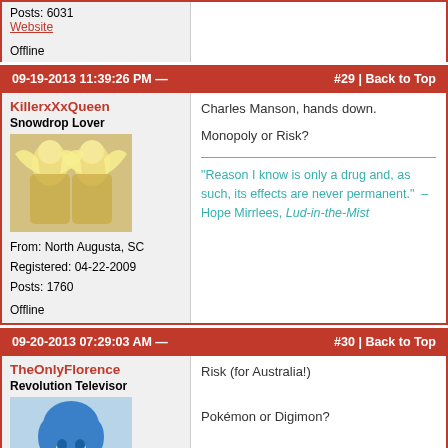Posts: 6031
Website
Offline
09-19-2013 11:39:26 PM — #29 | Back to Top
KillerxXxQueen
Snowdrop Lover
From: North Augusta, SC
Registered: 04-22-2009
Posts: 1760
Offline
Charles Manson, hands down.

Monopoly or Risk?
"Reason I know is only a drug and, as such, its effects are never permanent." – Hope Mirrlees, Lud-in-the-Mist
09-20-2013 07:29:03 AM — #30 | Back to Top
TheOnlyFlorence
Revolution Televisor
Registered: 09-16-2012
Risk (for Australia!)

Pokémon or Digimon?